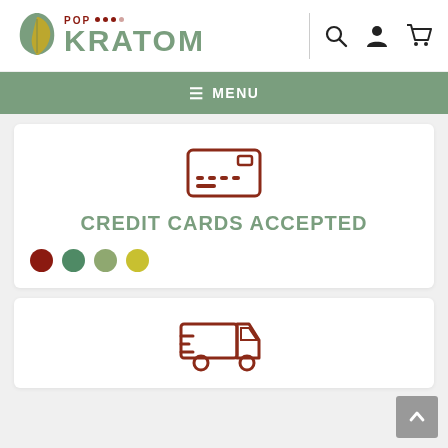[Figure (logo): Pop Kratom logo with green leaf, sage green KRATOM text, dark red POP text, and colored dots]
[Figure (screenshot): Header icons: search magnifier, user silhouette, shopping cart]
☰ MENU
[Figure (screenshot): Credit card icon - outline of a credit card with card number dots]
CREDIT CARDS ACCEPTED
[Figure (screenshot): Four colored circles: dark red, sage green, olive green, yellow-green]
[Figure (screenshot): Delivery truck / shipping icon]